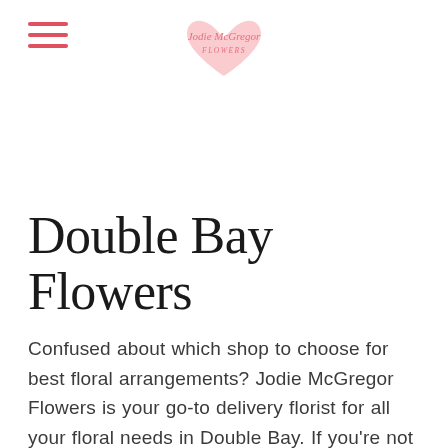Jodie McGregor Flowers logo with hamburger menu
Double Bay Flowers
Confused about which shop to choose for best floral arrangements? Jodie McGregor Flowers is your go-to delivery florist for all your floral needs in Double Bay. If you're not sure of what to buy, our talented florists can advise you on the best arrangement that suits your occasion. Being an award-winning Sydney florist, we offer quality and reliable service to build a strong bond with